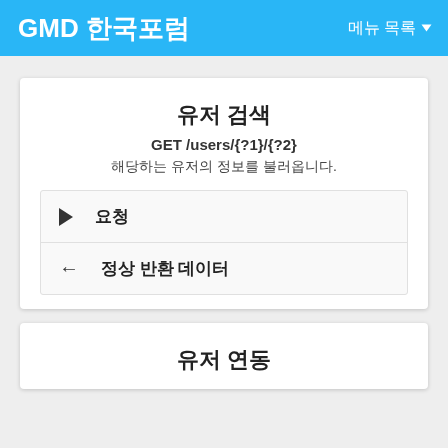GMD 한국포럼  메뉴 목록
유저 검색
GET /users/{?1}/{?2}
해당하는 유저의 정보를 불러옵니다.
요청
정상 반환 데이터
유저 연동